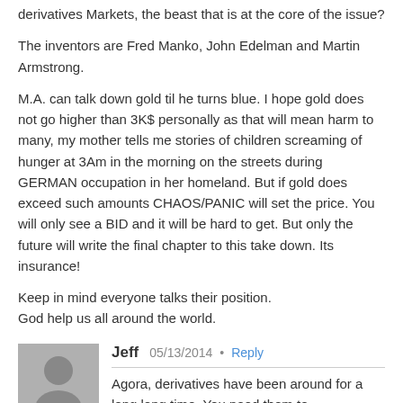derivatives Markets, the beast that is at the core of the issue?
The inventors are Fred Manko, John Edelman and Martin Armstrong.
M.A. can talk down gold til he turns blue. I hope gold does not go higher than 3K$ personally as that will mean harm to many, my mother tells me stories of children screaming of hunger at 3Am in the morning on the streets during GERMAN occupation in her homeland. But if gold does exceed such amounts CHAOS/PANIC will set the price. You will only see a BID and it will be hard to get. But only the future will write the final chapter to this take down. Its insurance!
Keep in mind everyone talks their position.
God help us all around the world.
[Figure (illustration): Gray avatar/profile placeholder image showing a silhouette of a person]
Jeff  05/13/2014 • Reply
Agora, derivatives have been around for a long long time. You need them to